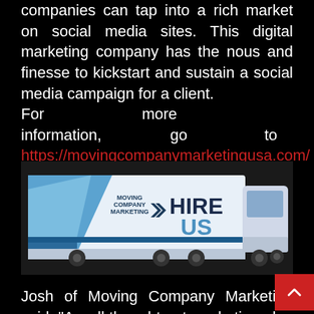companies can tap into a rich market on social media sites. This digital marketing company has the nous and finesse to kickstart and sustain a social media campaign for a client.
For more information, go to https://movingcompanymarketingusa.com/
[Figure (photo): A moving truck with 'Moving Company Marketing' logo and 'HIRE US' text on the side, on a white/blue gradient trailer.]
Josh of Moving Company Marketing said, “A well thought out marketing plan for your moving company will help you identify your ideal customer, understand their needs and challenges, and of solution. This will be the target market for your moving company services. Your marketing strategy